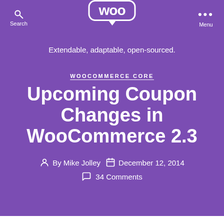WooCommerce - Extendable, adaptable, open-sourced.
WOOCOMMERCE CORE
Upcoming Coupon Changes in WooCommerce 2.3
By Mike Jolley  December 12, 2014  34 Comments